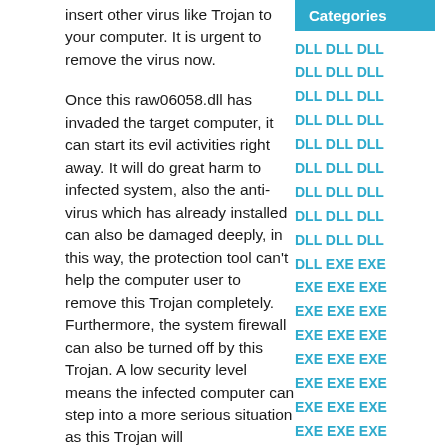insert other virus like Trojan to your computer. It is urgent to remove the virus now.
Once this raw06058.dll has invaded the target computer, it can start its evil activities right away. It will do great harm to infected system, also the anti-virus which has already installed can also be damaged deeply, in this way, the protection tool can't help the computer user to remove this Trojan completely. Furthermore, the system firewall can also be turned off by this Trojan. A low security level means the infected computer can step into a more serious situation as this Trojan will
Categories
DLL DLL DLL
DLL DLL DLL
DLL DLL DLL
DLL DLL DLL
DLL DLL DLL
DLL DLL DLL
DLL DLL DLL
DLL DLL DLL
DLL DLL DLL
DLL EXE EXE
EXE EXE EXE
EXE EXE EXE
EXE EXE EXE
EXE EXE EXE
EXE EXE EXE
EXE EXE EXE
EXE EXE EXE
EXE EXE EXE
EXE EXE EXE